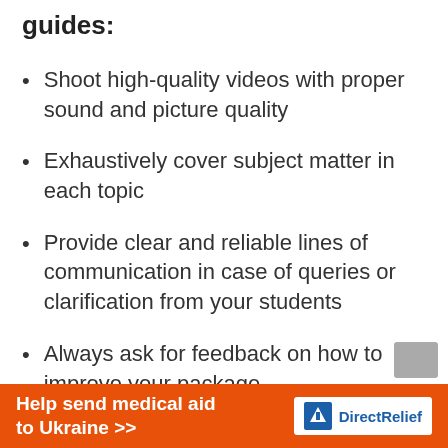guides:
Shoot high-quality videos with proper sound and picture quality
Exhaustively cover subject matter in each topic
Provide clear and reliable lines of communication in case of queries or clarification from your students
Always ask for feedback on how to improve your package
[Figure (infographic): Orange advertisement banner: 'Help send medical aid to Ukraine >>' with Direct Relief logo on white background]